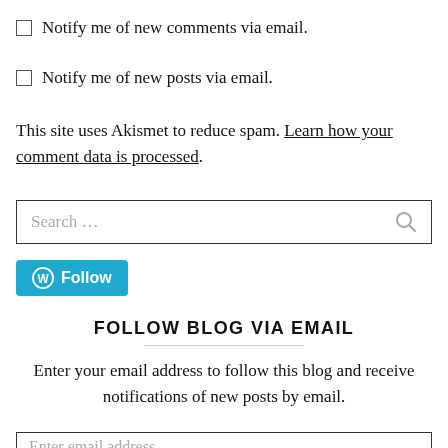Notify me of new comments via email.
Notify me of new posts via email.
This site uses Akismet to reduce spam. Learn how your comment data is processed.
Search …
[Figure (other): WordPress Follow button in teal/blue color]
FOLLOW BLOG VIA EMAIL
Enter your email address to follow this blog and receive notifications of new posts by email.
Enter email address